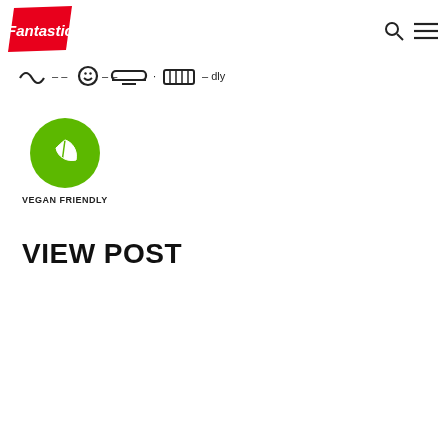[Figure (logo): Fantastic brand logo - red parallelogram with white italic text 'Fantastic']
[Figure (infographic): Row of cooking/food icons: wavy line, circle, dish/tray, grid/rack, and additional icon with dash text]
[Figure (infographic): Green circle with white leaf icon labeled VEGAN FRIENDLY]
VEGAN FRIENDLY
VIEW POST